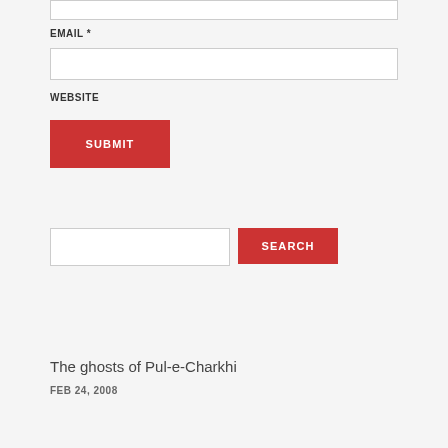EMAIL *
WEBSITE
SUBMIT
SEARCH
The ghosts of Pul-e-Charkhi
FEB 24, 2008